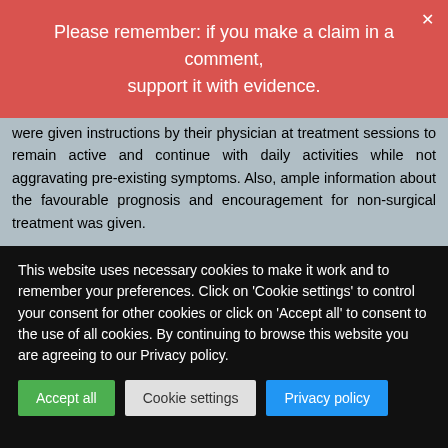Please remember: if you make a claim in a comment, support it with evidence.
were given instructions by their physician at treatment sessions to remain active and continue with daily activities while not aggravating pre-existing symptoms. Also, ample information about the favourable prognosis and encouragement for non-surgical treatment was given.
The traditional Korean spinal manipulations used ('Chuna therapy' – the references provided for it do NOT refer to this specific way of manipulation) seemed interesting, I thought. Here is an explanation from an unrelated paper:
Chuna, which is a
This website uses necessary cookies to make it work and to remember your preferences. Click on 'Cookie settings' to control your consent for other cookies or click on 'Accept all' to consent to the use of all cookies. By continuing to browse this website you are agreeing to our Privacy policy.